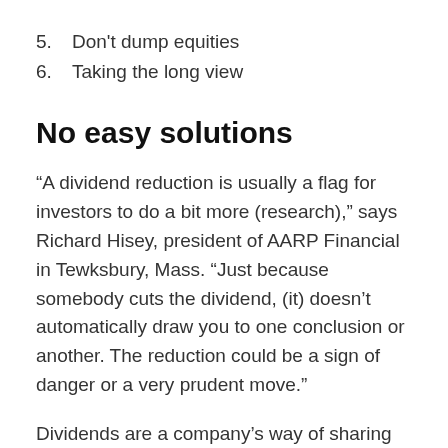5.  Don't dump equities
6.  Taking the long view
No easy solutions
“A dividend reduction is usually a flag for investors to do a bit more (research),” says Richard Hisey, president of AARP Financial in Tewksbury, Mass. “Just because somebody cuts the dividend, (it) doesn’t automatically draw you to one conclusion or another. The reduction could be a sign of danger or a very prudent move.”
Dividends are a company’s way of sharing profits with shareholders. Some companies have big